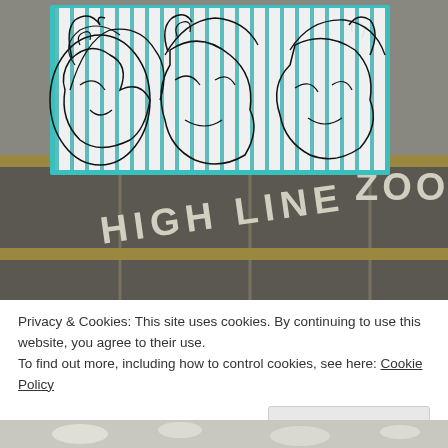[Figure (photo): Close-up photograph of artwork showing abstract line-drawn faces on a striped teal/blue background, placed on top of an old iron or metal structure with the words 'HIGH LINE' and 'ZOO' visible in large letters below.]
Privacy & Cookies: This site uses cookies. By continuing to use this website, you agree to their use.
To find out more, including how to control cookies, see here: Cookie Policy
Close and accept
[Figure (photo): Partial view of a bottom photograph showing icy or frosty white structures, likely part of the same location context.]